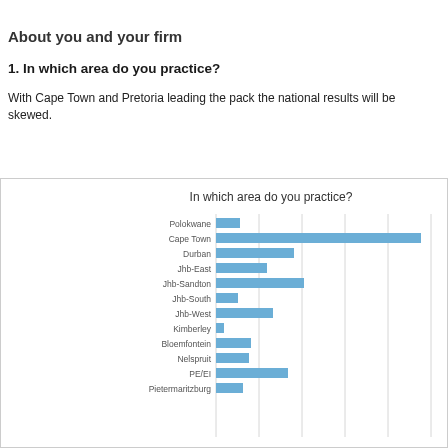About you and your firm
1. In which area do you practice?
With Cape Town and Pretoria leading the pack the national results will be skewed.
[Figure (bar-chart): In which area do you practice?]